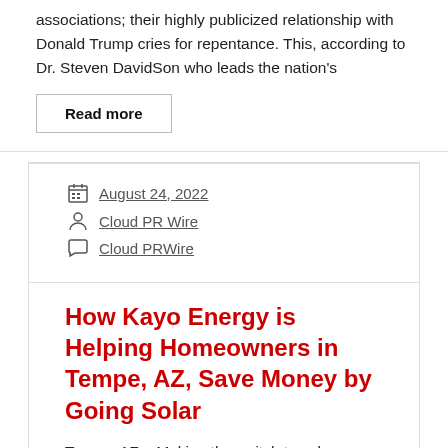associations; their highly publicized relationship with Donald Trump cries for repentance. This, according to Dr. Steven DavidSon who leads the nation's
Read more
August 24, 2022
Cloud PR Wire
Cloud PRWire
How Kayo Energy is Helping Homeowners in Tempe, AZ, Save Money by Going Solar
Tempe, AZ – Making the switch to solar power is a great way to help the environment and save money on energy bills. As the cost of traditional energy sources